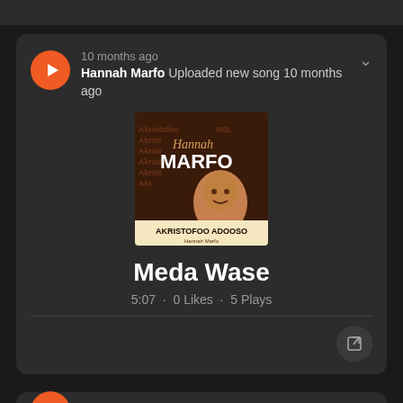[Figure (screenshot): Music streaming app UI showing a song card for 'Meda Wase' by Hannah Marfo with album art, play button, duration 5:07, 0 Likes, 5 Plays, posted 10 months ago]
10 months ago
Hannah Marfo Uploaded new song 10 months ago
Meda Wase
5:07 · 0 Likes · 5 Plays
10 months ago